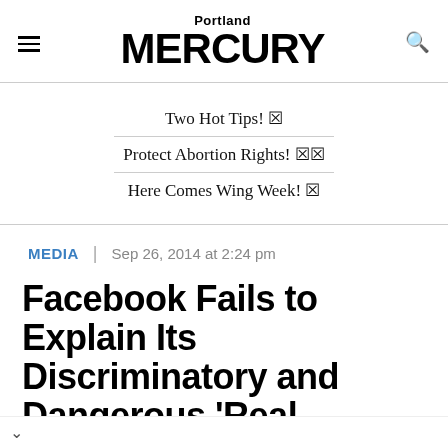Portland MERCURY
Two Hot Tips! 🔥
Protect Abortion Rights! 🔥🔥
Here Comes Wing Week! 🔥
MEDIA | Sep 26, 2014 at 2:24 pm
Facebook Fails to Explain Its Discriminatory and Dangerous 'Real Names'